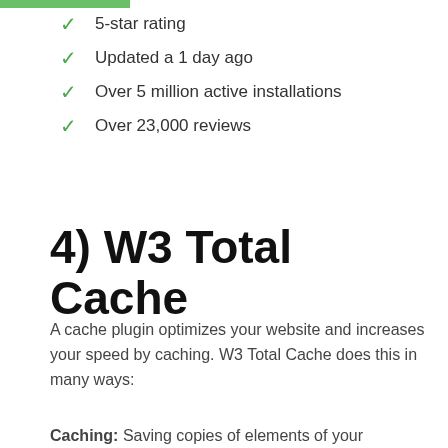5-star rating
Updated a 1 day ago
Over 5 million active installations
Over 23,000 reviews
4) W3 Total Cache
A cache plugin optimizes your website and increases your speed by caching. W3 Total Cache does this in many ways:
Caching: Saving copies of elements of your